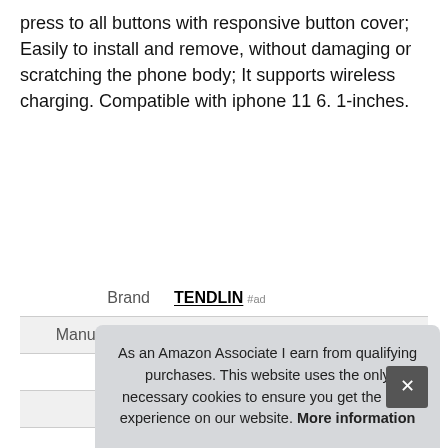press to all buttons with responsive button cover; Easily to install and remove, without damaging or scratching the phone body; It supports wireless charging. Compatible with iphone 11 6. 1-inches.
|  |  |
| --- | --- |
| Brand | TENDLIN #ad |
| Manufacturer | TENDLIN #ad |
| Height | 0.47 Inches |
| Length | 6.14 Inches |
| Weight | 0.1 Pounds |
As an Amazon Associate I earn from qualifying purchases. This website uses the only necessary cookies to ensure you get the best experience on our website. More information